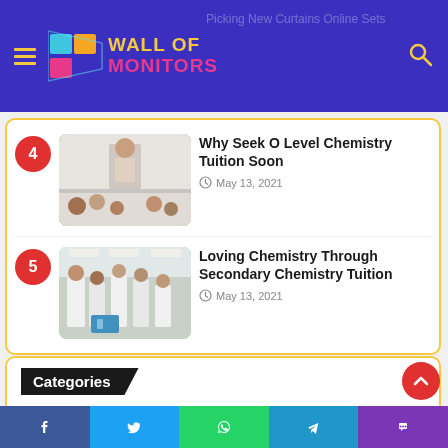Wall of Monitors
[Figure (photo): Classroom scene with teacher and students]
Why Seek O Level Chemistry Tuition Soon
May 13, 2021
[Figure (photo): Students in lab coats in a chemistry lab]
Loving Chemistry Through Secondary Chemistry Tuition
May 13, 2021
Categories
All
Automotive